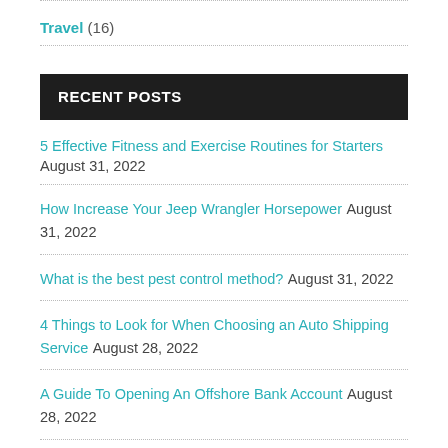Travel (16)
RECENT POSTS
5 Effective Fitness and Exercise Routines for Starters August 31, 2022
How Increase Your Jeep Wrangler Horsepower August 31, 2022
What is the best pest control method? August 31, 2022
4 Things to Look for When Choosing an Auto Shipping Service August 28, 2022
A Guide To Opening An Offshore Bank Account August 28, 2022